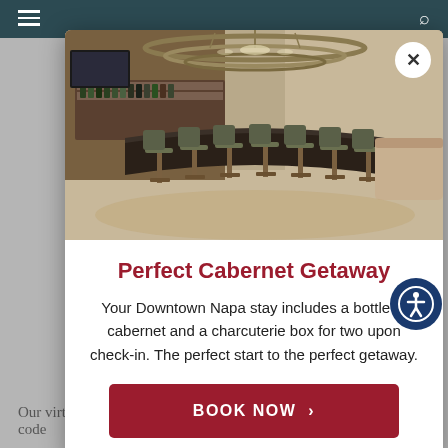[Figure (screenshot): Mobile website modal popup for 'Perfect Cabernet Getaway' hotel promotion. Dark teal header bar with hamburger menu and search icon. Modal card with photo of upscale bar/lounge area with bar stools and circular chandelier, close X button. Title in dark red 'Perfect Cabernet Getaway', descriptive text, and red BOOK NOW button. Accessibility icon bottom right. Partially visible page text at bottom.]
Perfect Cabernet Getaway
Your Downtown Napa stay includes a bottle of cabernet and a charcuterie box for two upon check-in. The perfect start to the perfect getaway.
BOOK NOW >
Our virtual tasting kits come with $10 ground shipping. Use coupon code